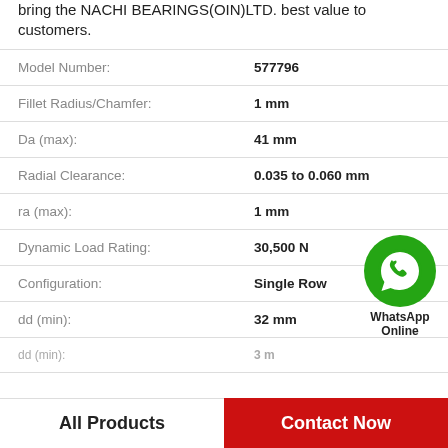bring the NACHI BEARINGS(OIN)LTD. best value to customers.
| Property | Value |
| --- | --- |
| Model Number: | 577796 |
| Fillet Radius/Chamfer: | 1 mm |
| Da (max): | 41 mm |
| Radial Clearance: | 0.035 to 0.060 mm |
| ra (max): | 1 mm |
| Dynamic Load Rating: | 30,500 N |
| Configuration: | Single Row |
| dd (min): | 32 mm |
[Figure (logo): WhatsApp Online green phone icon with label 'WhatsApp Online']
All Products | Contact Now